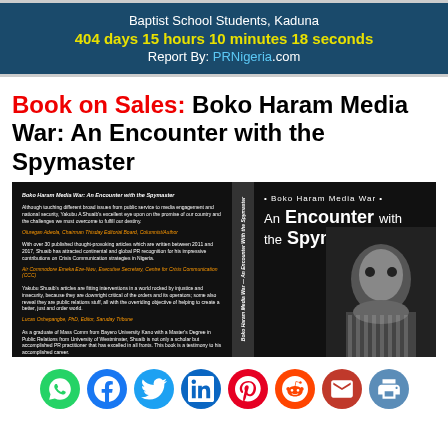Baptist School Students, Kaduna
404 days 15 hours 10 minutes 18 seconds
Report By: PRNigeria.com
Book on Sales: Boko Haram Media War: An Encounter with the Spymaster
[Figure (photo): Book cover of 'Boko Haram Media War: An Encounter with the Spymaster' showing black cover with white text on the right side and review quotes on the left side, with a photo of a face at the bottom right.]
[Figure (infographic): Social media sharing icons: WhatsApp (green), Facebook (blue), Twitter (light blue), LinkedIn (blue), Pinterest (red), Reddit (orange), Email (red/dark red), Print (blue-gray)]